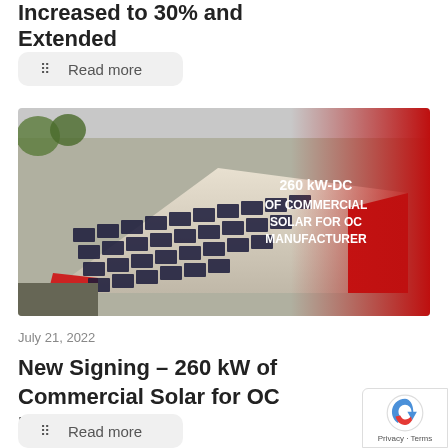Increased to 30% and Extended
Read more
[Figure (photo): Aerial view of a commercial building rooftop covered with solar panels. Red overlay banner with text: 260 kW-DC OF COMMERCIAL SOLAR FOR OC MANUFACTURER]
July 21, 2022
New Signing – 260 kW of Commercial Solar for OC Manufacturer
Read more